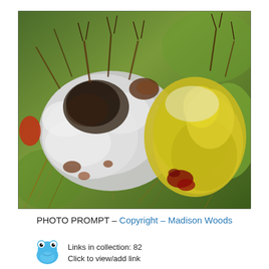[Figure (photo): Close-up macro photograph of what appears to be diseased or fungal-infected plant material. The subject shows white, fluffy fungal growth with dark brown/black patches, and yellow-green sections, set against a background of dried grass and green foliage.]
PHOTO PROMPT – Copyright – Madison Woods
[Figure (illustration): Small blue cartoon frog/toad mascot icon (InLinkz style logo)]
Links in collection: 82
Click to view/add link